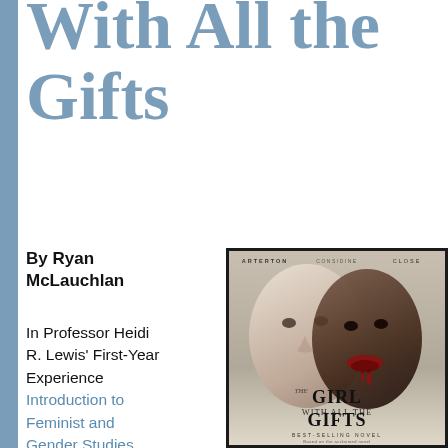With All the Gifts
By Ryan McLauchlan
In Professor Heidi R. Lewis’ First-Year Experience Introduction to Feminist and Gender Studies course, we
[Figure (photo): Movie poster for 'The Girl With All the Gifts' featuring two overlapping female faces, one lighter-skinned and one darker-skinned with blood around the mouth, with actor names Arterton, Considine, Close at top and the film title at bottom along with 'Best-Selling Novel' text]